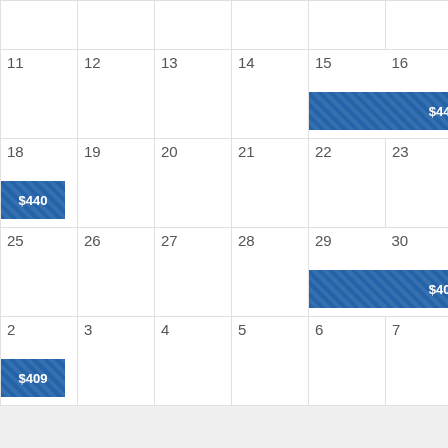| Sun | Mon | Tue | Wed | Thu | Fri | Sat |
| --- | --- | --- | --- | --- | --- | --- |
|  |  |  |  |  |  |  |
| 11 | 12 | 13 | 14 | 15 ($440) | 16 | 17 |
| 18 ($440) | 19 | 20 | 21 | 22 | 23 | 24 |
| 25 | 26 | 27 | 28 | 29 ($409) | 30 | 1 |
| 2 ($409) | 3 | 4 | 5 | 6 | 7 | 8 |
Connecting Flights vs Direct